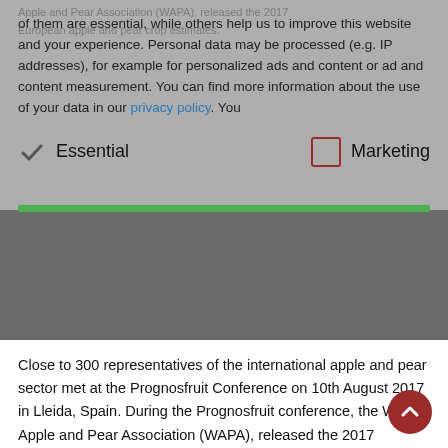Apple and Pear Association (WAPA), released the 2017 European apple and pear crop estimates.
of them are essential, while others help us to improve this website and your experience. Personal data may be processed (e.g. IP addresses), for example for personalized ads and content or ad and content measurement. You can find more information about the use of your data in our privacy policy. You
Essential    Marketing
Close to 300 representatives of the international apple and pear sector met at the Prognosfruit Conference on 10th August 2017 in Lleida, Spain. During the Prognosfruit conference, the World Apple and Pear Association (WAPA), released the 2017 European apple and pear crop estimates. The 2017 apple production in the EU will be around 31.5%...